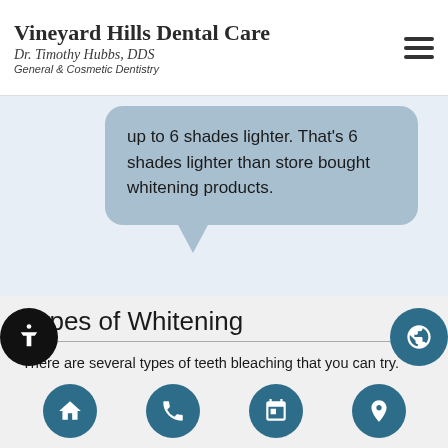Vineyard Hills Dental Care
Dr. Timothy Hubbs, DDS
General & Cosmetic Dentistry
up to 6 shades lighter. That's 6 shades lighter than store bought whitening products.
Types of Whitening
There are several types of teeth bleaching that you can try. People typically start by using whitening toothpaste at home. This can help to brighten your teeth but is typically not enough to actually whiten them. We recommend toothpaste as part of an